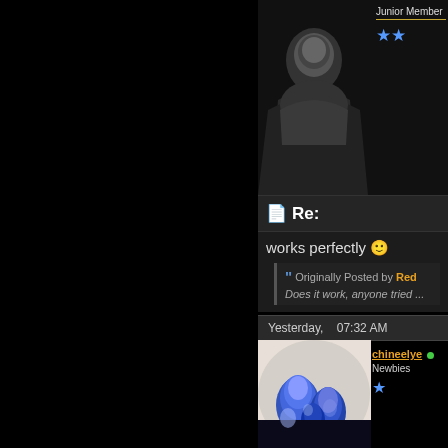[Figure (photo): Hooded figure avatar image, dark silhouette with hood against dark background]
Junior Member
★★ (two blue stars)
Re:
works perfectly 🙂
Originally Posted by Red
Does it work, anyone tried ...
Yesterday,    07:32 AM
[Figure (photo): Glowing blue mushrooms avatar image on dark background]
chineelye
Newbies
★ (one blue star)